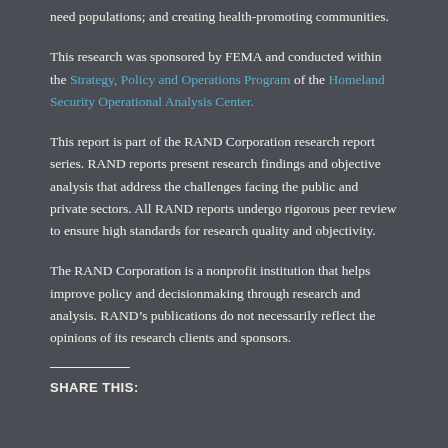need populations; and creating health-promoting communities.
This research was sponsored by FEMA and conducted within the Strategy, Policy and Operations Program of the Homeland Security Operational Analysis Center.
This report is part of the RAND Corporation research report series. RAND reports present research findings and objective analysis that address the challenges facing the public and private sectors. All RAND reports undergo rigorous peer review to ensure high standards for research quality and objectivity.
The RAND Corporation is a nonprofit institution that helps improve policy and decisionmaking through research and analysis. RAND’s publications do not necessarily reflect the opinions of its research clients and sponsors.
SHARE THIS: